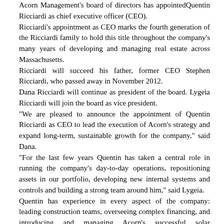Acorn Management's board of directors has appointed Quentin Ricciardi as chief executive officer (CEO). Ricciardi's appointment as CEO marks the fourth generation of the Ricciardi family to hold this title throughout the company's many years of developing and managing real estate across Massachusetts. Ricciardi will succeed his father, former CEO Stephen Ricciardi, who passed away in November 2012. Dana Ricciardi will continue as president of the board. Lygeia Ricciardi will join the board as vice president. "We are pleased to announce the appointment of Quentin Ricciardi as CEO to lead the execution of Acorn's strategy and expand long-term, sustainable growth for the company," said Dana. "For the last few years Quentin has taken a central role in running the company's day-to-day operations, repositioning assets in our portfolio, developing new internal systems and controls and building a strong team around him," said Lygeia. Quentin has experience in every aspect of the company: leading construction teams, overseeing complex financing, and introducing and managing Acorn's successful solar investments. Quentin has served the company as vice president for development for the last several years.